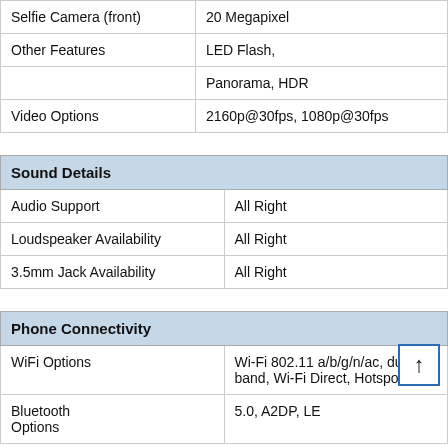| Selfie Camera (front) | 20 Megapixel |
| Other Features | LED Flash, |
|  | Panorama, HDR |
| Video Options | 2160p@30fps, 1080p@30fps |
| Sound Details |  |
| --- | --- |
| Audio Support | All Right |
| Loudspeaker Availability | All Right |
| 3.5mm Jack Availability | All Right |
| Phone Connectivity |  |
| --- | --- |
| WiFi Options | Wi-Fi 802.11 a/b/g/n/ac, dual-band, Wi-Fi Direct, Hotspot |
| Bluetooth Options | 5.0, A2DP, LE |